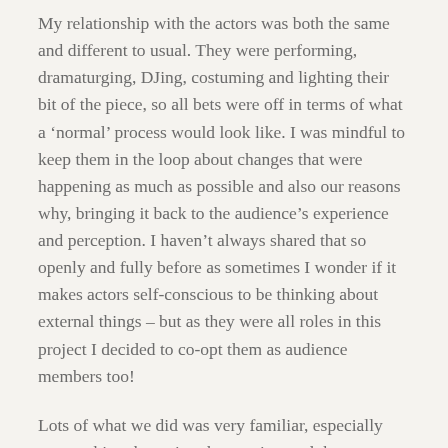My relationship with the actors was both the same and different to usual. They were performing, dramaturging, DJing, costuming and lighting their bit of the piece, so all bets were off in terms of what a ‘normal’ process would look like. I was mindful to keep them in the loop about changes that were happening as much as possible and also our reasons why, bringing it back to the audience’s experience and perception. I haven’t always shared that so openly and fully before as sometimes I wonder if it makes actors self-conscious to be thinking about external things – but as they were all roles in this project I decided to co-opt them as audience members too!
Lots of what we did was very familiar, especially approaching the script, the rewrites and the characters, but some of the other elements of it were much harder:
I missed having the chance to exchange a quiet word with